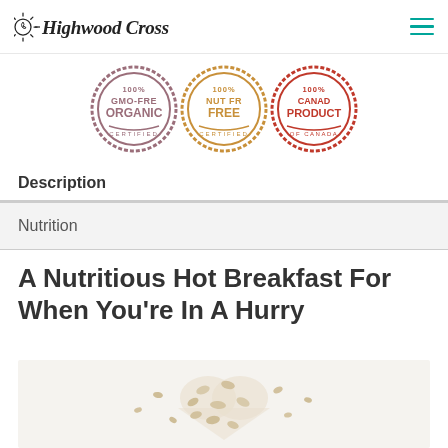Highwood Crossing
[Figure (illustration): Three circular stamp badges: GMO-Free Organic (mauve/purple), Nut Free 100% (golden/orange), and Canada (red) certification stamps, partially cropped at top]
Description
Nutrition
A Nutritious Hot Breakfast For When You're In A Hurry
[Figure (photo): Oats/rolled oats arranged in a heart shape on a white background, scattered grains around it]